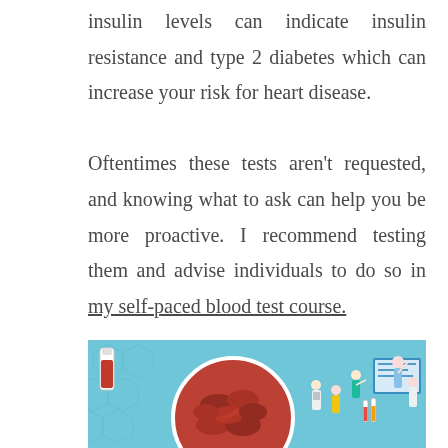insulin levels can indicate insulin resistance and type 2 diabetes which can increase your risk for heart disease.

Oftentimes these tests aren't requested, and knowing what to ask can help you be more proactive. I recommend testing them and advise individuals to do so in my self-paced blood test course.
[Figure (illustration): Medical illustration showing a magnified view of red blood cells inside a circular frame on the left side, a test tube with blood on the upper left, and a group of doctors/medical professionals in white coats and scrubs on the right side, all on a light blue background with hexagonal pattern.]